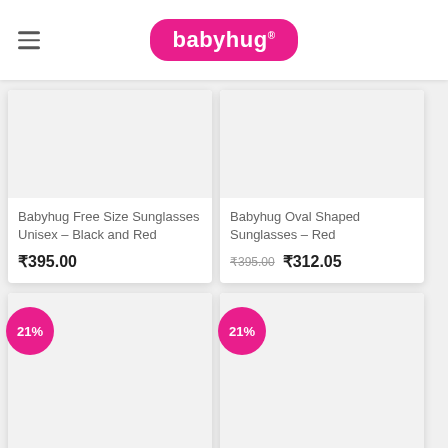babyhug
Babyhug Free Size Sunglasses Unisex – Black and Red
₹395.00
Babyhug Oval Shaped Sunglasses – Red
₹395.00  ₹312.05
21%
21%